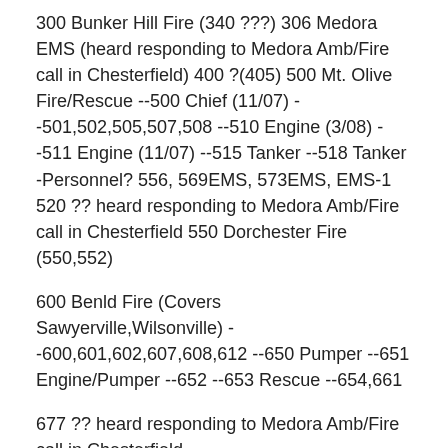300 Bunker Hill Fire (340 ???) 306 Medora EMS (heard responding to Medora Amb/Fire call in Chesterfield) 400 ?(405) 500 Mt. Olive Fire/Rescue --500 Chief (11/07) --501,502,505,507,508 --510 Engine (3/08) --511 Engine (11/07) --515 Tanker --518 Tanker -Personnel? 556, 569EMS, 573EMS, EMS-1 520 ?? heard responding to Medora Amb/Fire call in Chesterfield 550 Dorchester Fire (550,552)
600 Benld Fire (Covers Sawyerville,Wilsonville) --600,601,602,607,608,612 --650 Pumper --651 Engine/Pumper --652 --653 Rescue --654,661
677 ?? heard responding to Medora Amb/Fire call in Chesterfield
700 Wilsonville Fire (700, 701, 703 (1/08), 705, 707, 730-engine, 731-van/truck)